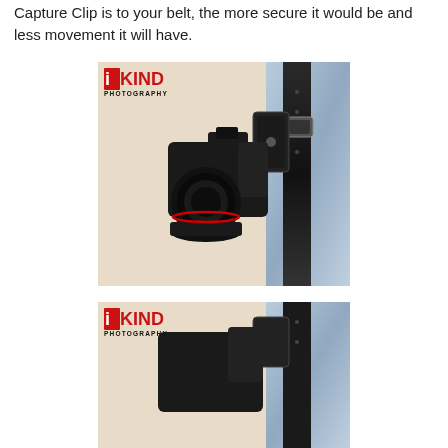Capture Clip is to your belt, the more secure it would be and less movement it will have.
[Figure (photo): A DSLR camera clipped to a person's belt via a capture clip system. The camera with lens attached hangs from the belt. Watermark reads 'i KIND PHOTOGRAPHY' in the top-left corner. Background shows jeans fabric and a black belt.]
[Figure (photo): Partial view of a second photo showing a similar camera-on-belt setup. Watermark reads 'i KIND PHOTOGRAPHY' in the top-left corner. Image is cropped at the bottom of the page.]